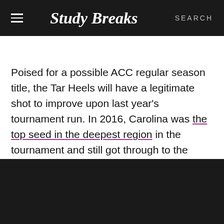Study Breaks   SEARCH
Poised for a possible ACC regular season title, the Tar Heels will have a legitimate shot to improve upon last year's tournament run. In 2016, Carolina was the top seed in the deepest region in the tournament and still got through to the national championship before falling to Villanova. This year's group is capable of going one game further, though every time they get on a real roll they seem to stumble.